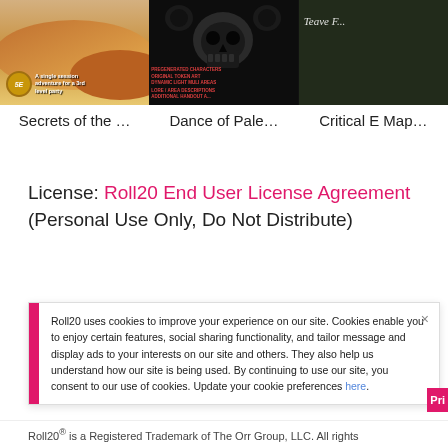[Figure (screenshot): Three product thumbnail images in a row: desert landscape with 5E badge, skull artwork on dark background, dark cave/map image with handwritten text]
Secrets of the …   Dance of Pale…   Critical E Map…
License: Roll20 End User License Agreement (Personal Use Only, Do Not Distribute)
Roll20 uses cookies to improve your experience on our site. Cookies enable you to enjoy certain features, social sharing functionality, and tailor message and display ads to your interests on our site and others. They also help us understand how our site is being used. By continuing to use our site, you consent to our use of cookies. Update your cookie preferences here.
Roll20® is a Registered Trademark of The Orr Group, LLC. All rights